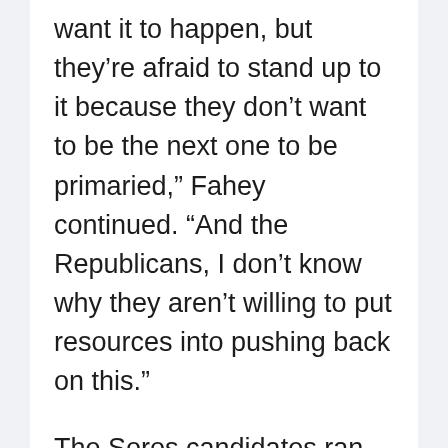want it to happen, but they're afraid to stand up to it because they don't want to be the next one to be primaried,” Fahey continued. “And the Republicans, I don't know why they aren't willing to put resources into pushing back on this.”
The Soros candidates ran on a platform of not prosecuting certain crimes and charging